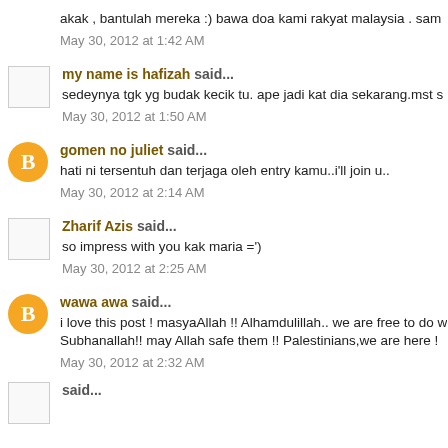akak , bantulah mereka :) bawa doa kami rakyat malaysia . sam
May 30, 2012 at 1:42 AM
my name is hafizah said...
sedeynya tgk yg budak kecik tu. ape jadi kat dia sekarang.mst s
May 30, 2012 at 1:50 AM
gomen no juliet said...
hati ni tersentuh dan terjaga oleh entry kamu..i'll join u..
May 30, 2012 at 2:14 AM
Zharif Azis said...
so impress with you kak maria =')
May 30, 2012 at 2:25 AM
wawa awa said...
i love this post ! masyaAllah !! Alhamdulillah.. we are free to do w Subhanallah!! may Allah safe them !! Palestinians,we are here !
May 30, 2012 at 2:32 AM